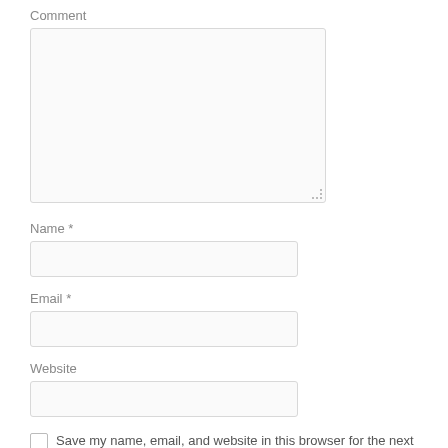Comment
[Figure (screenshot): Large textarea input field for comment entry]
Name *
[Figure (screenshot): Single-line text input field for Name]
Email *
[Figure (screenshot): Single-line text input field for Email]
Website
[Figure (screenshot): Single-line text input field for Website]
Save my name, email, and website in this browser for the next time I comment.